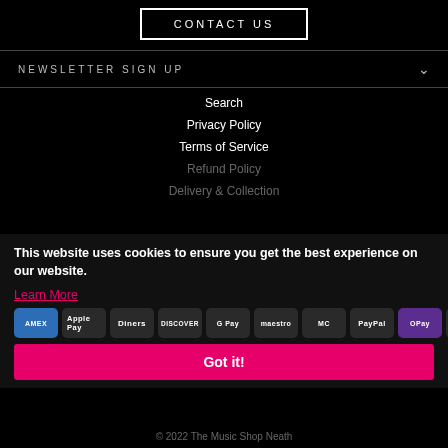CONTACT US
NEWSLETTER SIGN UP
Search
Privacy Policy
Terms of Service
Refund Policy
Delivery & Collection
This website uses cookies to ensure you get the best experience on our website.
Learn More
Got it!
© 2022 The Music Shop Neath